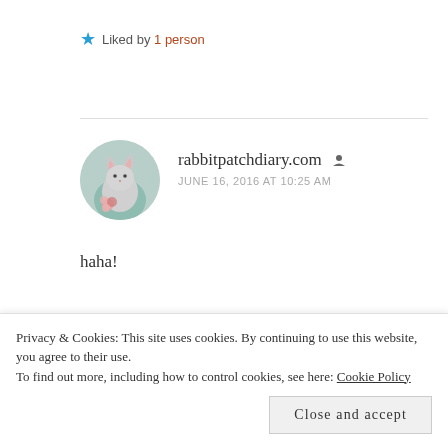★ Liked by 1 person
[Figure (photo): Circular avatar image of rabbitpatchdiary.com commenter showing a rabbit with pink flowers]
rabbitpatchdiary.com ▲ JUNE 16, 2016 AT 10:25 AM
haha!
★ Like
Privacy & Cookies: This site uses cookies. By continuing to use this website, you agree to their use. To find out more, including how to control cookies, see here: Cookie Policy
Close and accept